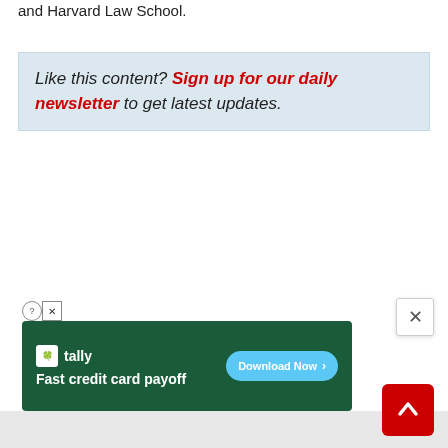and Harvard Law School.
Like this content? Sign up for our daily newsletter to get latest updates.
[Figure (screenshot): Advertisement banner for Tally app - 'Fast credit card payoff' with Download Now button on dark green background]
[Figure (other): Close (X) button in top right corner of a modal overlay]
[Figure (other): Red back-to-top arrow button in bottom right corner]